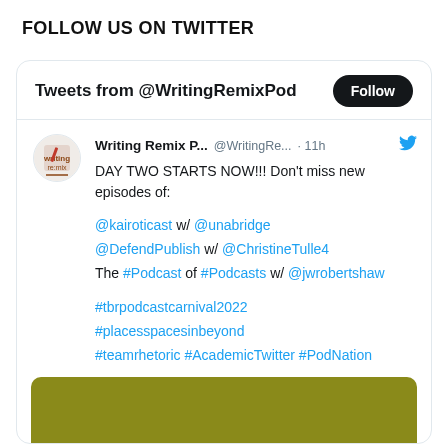FOLLOW US ON TWITTER
[Figure (screenshot): Twitter widget showing tweets from @WritingRemixPod with a Follow button, a tweet from Writing Remix P... (@WritingRe...) 11h ago with text about DAY TWO STARTS NOW, mentions of @kairoticast, @unabridge, @DefendPublish, @ChristineTulle4, The #Podcast of #Podcasts w/ @jwrobertshaw, hashtags #tbrpodcastcarnival2022 #placesspacesinbeyond #teamrhetoric #AcademicTwitter #PodNation, and a partial olive/yellow-green image at the bottom.]